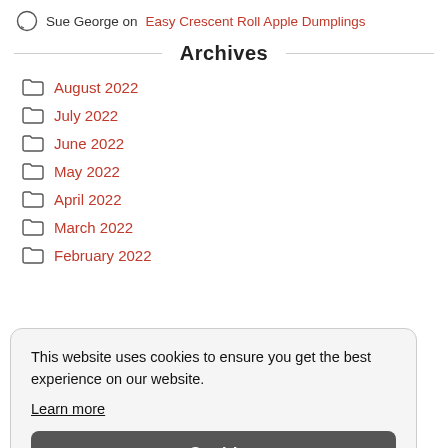Sue George on Easy Crescent Roll Apple Dumplings
Archives
August 2022
July 2022
June 2022
May 2022
April 2022
March 2022
February 2022
This website uses cookies to ensure you get the best experience on our website. Learn more Got it!
March 2021